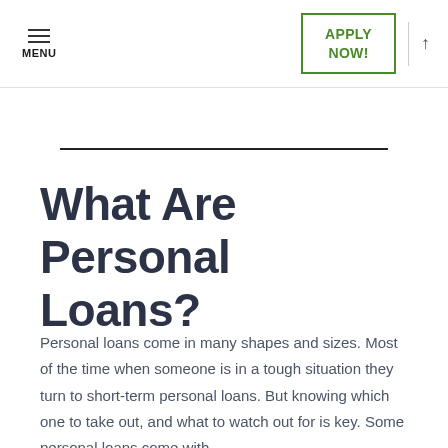MENU | APPLY NOW!
What Are Personal Loans?
Personal loans come in many shapes and sizes. Most of the time when someone is in a tough situation they turn to short-term personal loans. But knowing which one to take out, and what to watch out for is key. Some personal loans come with